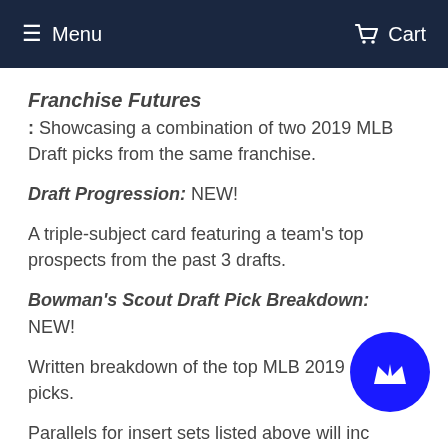Menu   Cart
Franchise Futures: Showcasing a combination of two 2019 MLB Draft picks from the same franchise.
Draft Progression: NEW!

A triple-subject card featuring a team's top prospects from the past 3 drafts.
Bowman's Scout Draft Pick Breakdown: NEW!

Written breakdown of the top MLB 2019 draft picks.
Parallels for insert sets listed above will inc
- Refractor: sequentially numbered to 250.